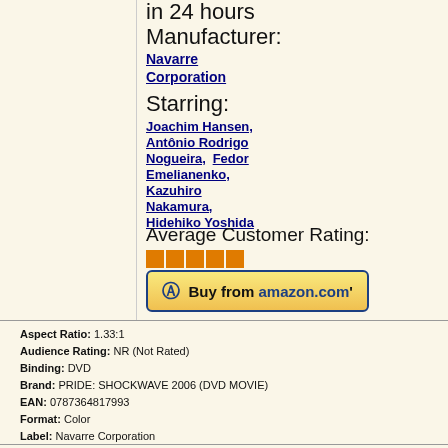in 24 hours
Manufacturer:
Navarre Corporation
Starring:
Joachim Hansen, Antônio Rodrigo Nogueira, Fedor Emelianenko, Kazuhiro Nakamura, Hidehiko Yoshida
Average Customer Rating: (4 stars)
[Figure (other): Buy from amazon.com button]
Aspect Ratio: 1.33:1
Audience Rating: NR (Not Rated)
Binding: DVD
Brand: PRIDE: SHOCKWAVE 2006 (DVD MOVIE)
EAN: 0787364817993
Format: Color
Label: Navarre Corporation
Manufacturer: Navarre Corporation
Number Of Items: 1
Publisher: Navarre Corporation
Region Code: 1
Release Date: 2008-05-06
Running Time: 158
Studio: Navarre Corporation
Theatrical Release Date: 2006